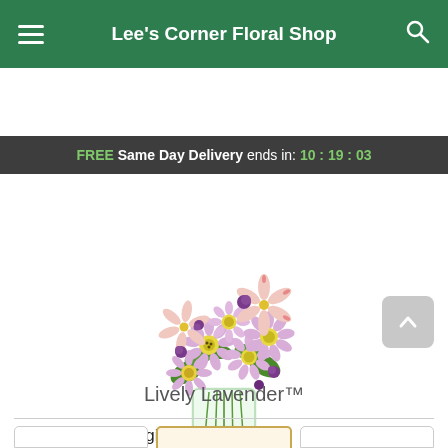Lee's Corner Floral Shop
FREE Same Day Delivery ends in: 10:19:03
[Figure (photo): A bouquet of lavender daisies, pink lilies, and purple globe amaranth flowers arranged in a clear glass cylindrical vase]
Lively Lavender™
Pick your perfect gift: